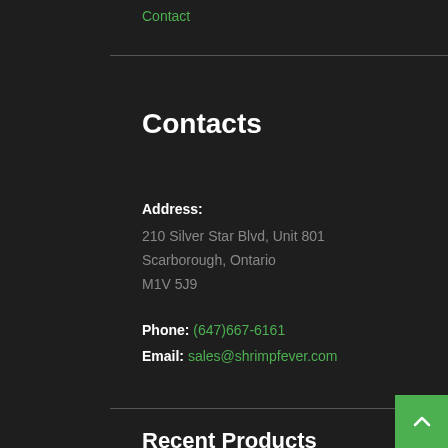Contact
Contacts
Address: 210 Silver Star Blvd, Unit 801
Scarborough, Ontario
M1V 5J9
Phone: (647)667-6161
Email: sales@shrimpfever.com
Recent Products
L397 Alenquer Tiger Pleco